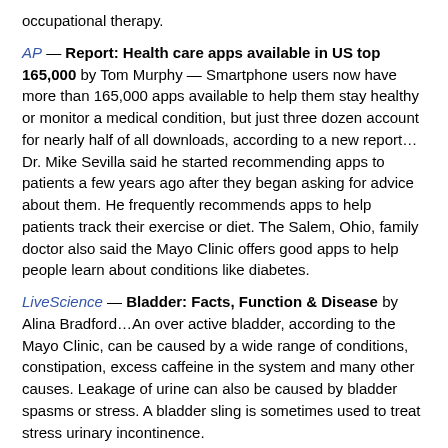occupational therapy.
AP — Report: Health care apps available in US top 165,000 by Tom Murphy — Smartphone users now have more than 165,000 apps available to help them stay healthy or monitor a medical condition, but just three dozen account for nearly half of all downloads, according to a new report…Dr. Mike Sevilla said he started recommending apps to patients a few years ago after they began asking for advice about them. He frequently recommends apps to help patients track their exercise or diet. The Salem, Ohio, family doctor also said the Mayo Clinic offers good apps to help people learn about conditions like diabetes.
LiveScience — Bladder: Facts, Function & Disease by Alina Bradford…An over active bladder, according to the Mayo Clinic, can be caused by a wide range of conditions, constipation, excess caffeine in the system and many other causes. Leakage of urine can also be caused by bladder spasms or stress. A bladder sling is sometimes used to treat stress urinary incontinence.
Red Wing Republican Eagle — Column: Kids will make gains as food programs grow by Brenton Lexvold — The end of summer marks the end of another successful Summer Food Service Program for Red Wing Public Schools. With the help of